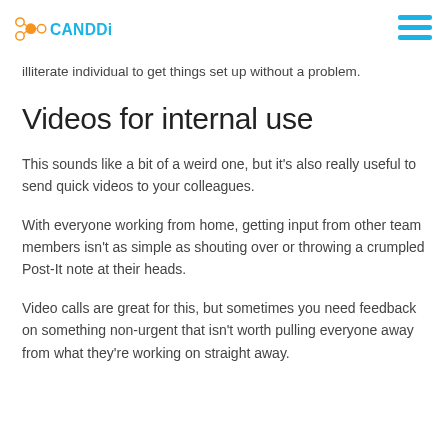CANDDi [logo with hamburger menu]
illiterate individual to get things set up without a problem.
Videos for internal use
This sounds like a bit of a weird one, but it's also really useful to send quick videos to your colleagues.
With everyone working from home, getting input from other team members isn't as simple as shouting over or throwing a crumpled Post-It note at their heads.
Video calls are great for this, but sometimes you need feedback on something non-urgent that isn't worth pulling everyone away from what they're working on straight away.